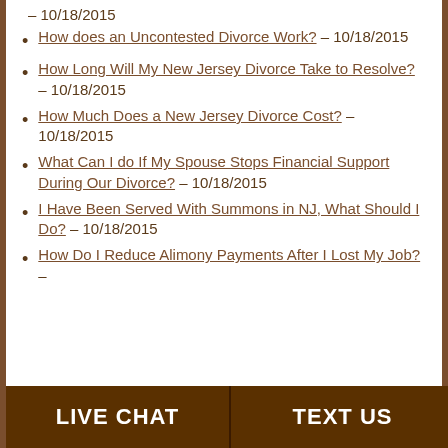- 10/18/2015
How does an Uncontested Divorce Work? - 10/18/2015
How Long Will My New Jersey Divorce Take to Resolve? - 10/18/2015
How Much Does a New Jersey Divorce Cost? - 10/18/2015
What Can I do If My Spouse Stops Financial Support During Our Divorce? - 10/18/2015
I Have Been Served With Summons in NJ, What Should I Do? - 10/18/2015
How Do I Reduce Alimony Payments After I Lost My Job? -
LIVE CHAT   TEXT US